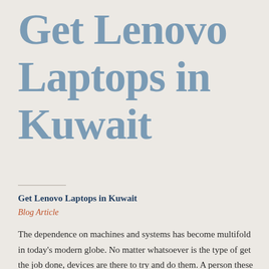Get Lenovo Laptops in Kuwait
Get Lenovo Laptops in Kuwait
Blog Article
The dependence on machines and systems has become multifold in today's modern globe. No matter whatsoever is the type of get the job done, devices are there to try and do them. A person these machine